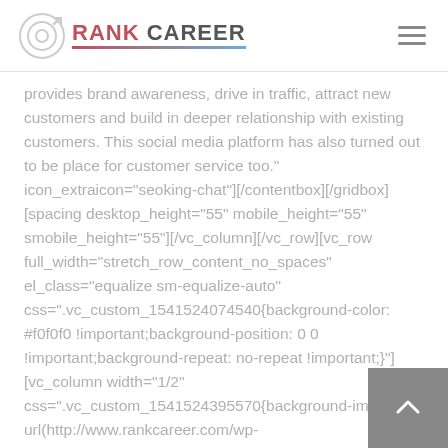RANK CAREER
provides brand awareness, drive in traffic, attract new customers and build in deeper relationship with existing customers. This social media platform has also turned out to be place for customer service too." icon_extraicon="seoking-chat"][/contentbox][/gridbox][spacing desktop_height="55" mobile_height="55" smobile_height="55"][/vc_column][/vc_row][vc_row full_width="stretch_row_content_no_spaces" el_class="equalize sm-equalize-auto" css=".vc_custom_1541524074540{background-color: #f0f0f0 !important;background-position: 0 0 !important;background-repeat: no-repeat !important;}"][vc_column width="1/2" css=".vc_custom_1541524395570{background-image: url(http://www.rankcareer.com/wp-content/uploads/2019/02/section-img1-1-scaled-2005)